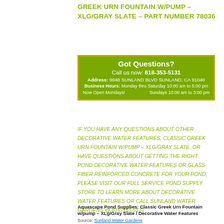GREEK URN FOUNTAIN W/PUMP – XLG/GRAY SLATE – PART NUMBER 78036
[Figure (infographic): Got Questions? Call us now: 818-353-5131. Address: 9948 SUNLAND BLVD SUNLAND, CA 91040. Business Hours: Monday thru Saturday 10:00 am to 5:00 pm. Now Open Mondays! Sundays 10:00 am to 3:00 pm. Green box with yellow/gold border.]
IF YOU HAVE ANY QUESTIONS ABOUT OTHER DECORATIVE WATER FEATURES, CLASSIC GREEK URN FOUNTAIN W/PUMP – XLG/GRAY SLATE, OR HAVE QUESTIONS ABOUT GETTING THE RIGHT POND DECORATIVE WATER FEATURES OR GLASS FIBER REINFORCED CONCRETE FOR YOUR POND, PLEASE VISIT OUR FULL SERVICE POND SUPPLY STORE TO LEARN MORE ABOUT DECORATIVE WATER FEATURES OR CALL SUNLAND WATER GARDENS @ 818-353-5131
Aquascape Pond Supplies: Classic Greek Urn Fountain w/pump – XLg/Gray Slate / Decorative Water Features
Source: Sunland Water Gardens